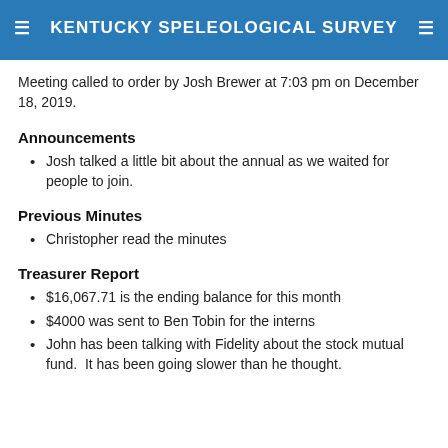KENTUCKY SPELEOLOGICAL SURVEY
Meeting called to order by Josh Brewer at 7:03 pm on December 18, 2019.
Announcements
Josh talked a little bit about the annual as we waited for people to join.
Previous Minutes
Christopher read the minutes
Treasurer Report
$16,067.71 is the ending balance for this month
$4000 was sent to Ben Tobin for the interns
John has been talking with Fidelity about the stock mutual fund.  It has been going slower than he thought.